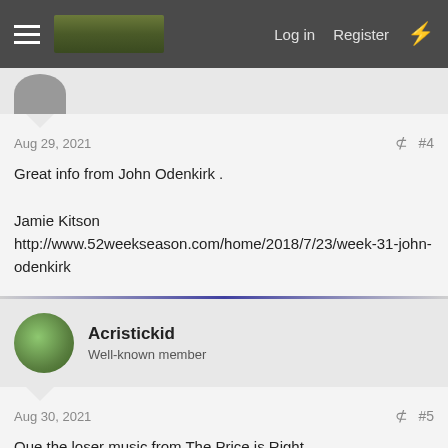Log in  Register
Aug 29, 2021  #4
Great info from John Odenkirk .

Jamie Kitson
http://www.52weekseason.com/home/2018/7/23/week-31-john-odenkirk
Acristickid
Well-known member
Aug 30, 2021  #5
Que the loser music from The Price is Right.....

Lost a snakehead , baby tarpon , peacock bass in FL 2 weeks ago.